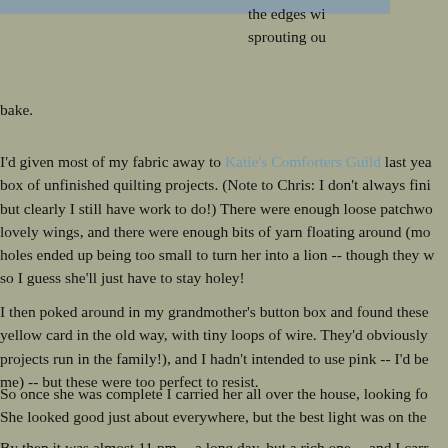[Figure (photo): Partial image strip at top of page]
the edges wi... sprouting ou...
bake.
I'd given most of my fabric away to Katie's Comforters Guild last yea... box of unfinished quilting projects. (Note to Chris: I don't always fini... but clearly I still have work to do!) There were enough loose patchwo... lovely wings, and there were enough bits of yarn floating around (mo... holes ended up being too small to turn her into a lion -- though they w... so I guess she'll just have to stay holey!
I then poked around in my grandmother's button box and found these... yellow card in the old way, with tiny loops of wire. They'd obviously... projects run in the family!), and I hadn't intended to use pink -- I'd be... me) -- but these were too perfect to resist.
So once she was complete I carried her all over the house, looking fo... She looked good just about everywhere, but the best light was on the...
By then it was almost 11 pm -- a long day, but a rich one -- and I carr... out where to hang her permanently tomorrow, but not quite wanting t... lamp is tall, and turns on and off with a long chain) that I could hang...